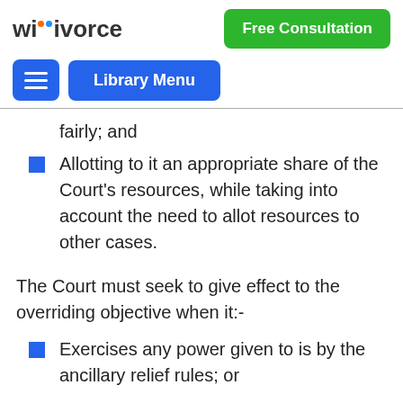wikivorce | Free Consultation | Library Menu
fairly; and
Allotting to it an appropriate share of the Court's resources, while taking into account the need to allot resources to other cases.
The Court must seek to give effect to the overriding objective when it:-
Exercises any power given to is by the ancillary relief rules; or